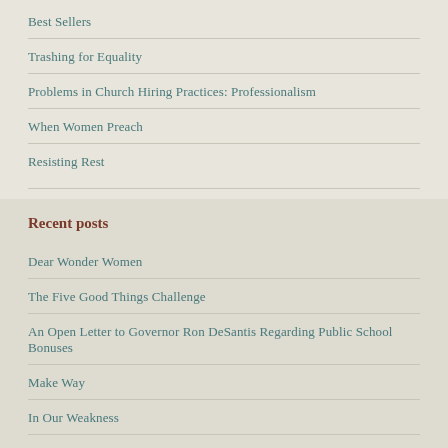Best Sellers
Trashing for Equality
Problems in Church Hiring Practices: Professionalism
When Women Preach
Resisting Rest
Recent posts
Dear Wonder Women
The Five Good Things Challenge
An Open Letter to Governor Ron DeSantis Regarding Public School Bonuses
Make Way
In Our Weakness
I was hospitalized during the pandemic. This is what it was like inside…